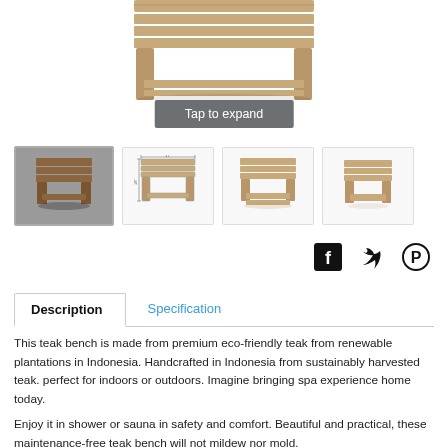[Figure (photo): Partial view of a teak wood bench/stool, showing the legs and bottom shelf, cropped at top of page]
Tap to expand
[Figure (photo): Four thumbnail images of a teak bench from different angles: front-angled dark background (active/selected), dimension drawing with measurements, front view light background, and side/back view light background]
[Figure (infographic): Social sharing icons: Facebook, Twitter, Pinterest]
Description   Specification
This teak bench is made from premium eco-friendly teak from renewable plantations in Indonesia. Handcrafted in Indonesia from sustainably harvested teak. perfect for indoors or outdoors. Imagine bringing spa experience home today.
Enjoy it in shower or sauna in safety and comfort. Beautiful and practical, these maintenance-free teak bench will not mildew nor mold.